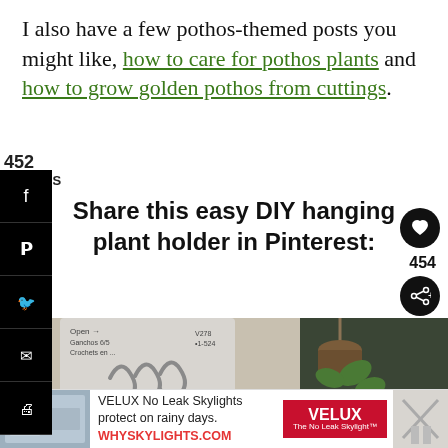I also have a few pothos-themed posts you might like, how to care for pothos plants and how to grow golden pothos from cuttings.
452 SHARES
Share this easy DIY hanging plant holder in Pinterest:
[Figure (screenshot): Social media share sidebar with Facebook, Pinterest, Twitter, Email, and Print icons in black]
[Figure (photo): Two-panel image: left shows S-hooks/hooks in packaging with USA badge and text; right shows hanging pothos plant with 'What's Next - Make a Hanging...' overlay]
[Figure (infographic): Ad banner: VELUX No Leak Skylights protect on rainy days. WHYSKYLIGHTS.COM]